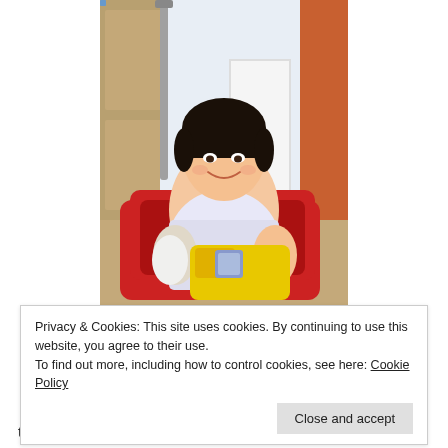[Figure (photo): A young Asian child sitting in a red wagon/seat, smiling at the camera, holding stuffed toys and a colorful toy steering wheel. The child appears to be in a medical or clinical setting. The child has black hair and is wearing a patterned outfit.]
Privacy & Cookies: This site uses cookies. By continuing to use this website, you agree to their use.
To find out more, including how to control cookies, see here: Cookie Policy
Close and accept
their expertise in interacting with children with OI.